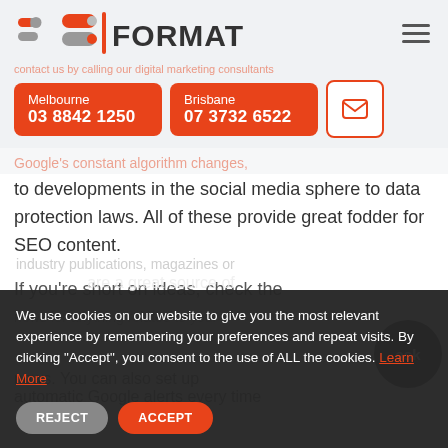[Figure (logo): iFormat logo with red and grey pill/capsule icons followed by a vertical red bar and the word FORMAT in dark text]
Melbourne 03 8842 1250
Brisbane 07 3732 6522
to developments in the social media sphere to data protection laws. All of these provide great fodder for SEO content.
If you're short on ideas, check the news for anything related to your industry publications, magazines or are a great source of news. You can also set up automatic Google alerts every time
We use cookies on our website to give you the most relevant experience by remembering your preferences and repeat visits. By clicking "Accept", you consent to the use of ALL the cookies. Learn More
REJECT
ACCEPT